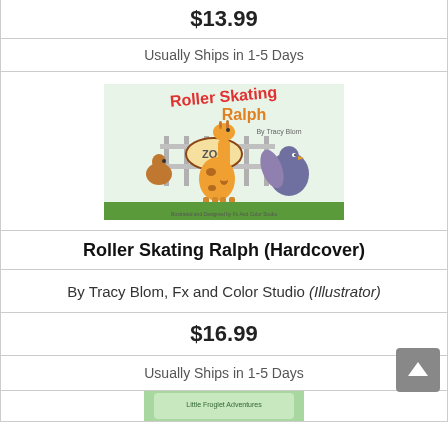$13.99
Usually Ships in 1-5 Days
[Figure (illustration): Book cover of 'Roller Skating Ralph' showing a giraffe on roller skates at the zoo, with a bird and other animals, illustrated by Fx And Color Studio, by Tracy Blom]
Roller Skating Ralph (Hardcover)
By Tracy Blom, Fx and Color Studio (Illustrator)
$16.99
Usually Ships in 1-5 Days
[Figure (illustration): Partial view of next book cover at bottom of page]